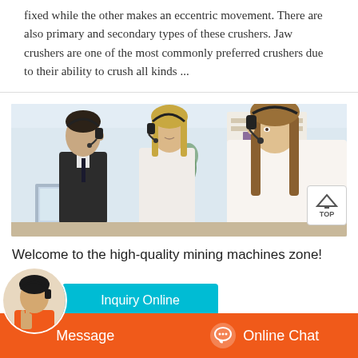fixed while the other makes an eccentric movement. There are also primary and secondary types of these crushers. Jaw crushers are one of the most commonly preferred crushers due to their ability to crush all kinds ...
[Figure (photo): Three call center workers wearing headsets sitting at desks with laptops in an office environment. Two women and one man in professional attire.]
Welcome to the high-quality mining machines zone!
Inquiry Online
Message
Online Chat